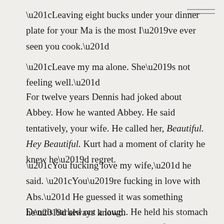“Leaving eight bucks under your dinner plate for your Ma is the most I’ve ever seen you cook.”
“Leave my ma alone. She’s not feeling well.”
For twelve years Dennis had joked about Abbey. How he wanted Abbey. He said tentatively, your wife. He called her, Beautiful. Hey Beautiful. Kurt had a moment of clarity he knew he’d regret.
“You fucking love my wife,” he said. “You’re fucking in love with Abs.” He guessed it was something he’d always known.
Dennis barked out a laugh. He held his stomach and leaned over the picnic table as if to retch.